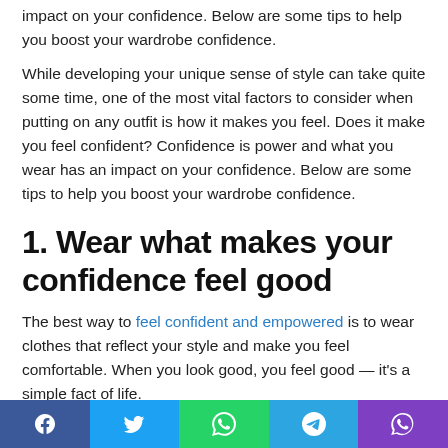impact on your confidence. Below are some tips to help you boost your wardrobe confidence.
While developing your unique sense of style can take quite some time, one of the most vital factors to consider when putting on any outfit is how it makes you feel. Does it make you feel confident? Confidence is power and what you wear has an impact on your confidence. Below are some tips to help you boost your wardrobe confidence.
1. Wear what makes your confidence feel good
The best way to feel confident and empowered is to wear clothes that reflect your style and make you feel comfortable. When you look good, you feel good — it's a simple fact of life.